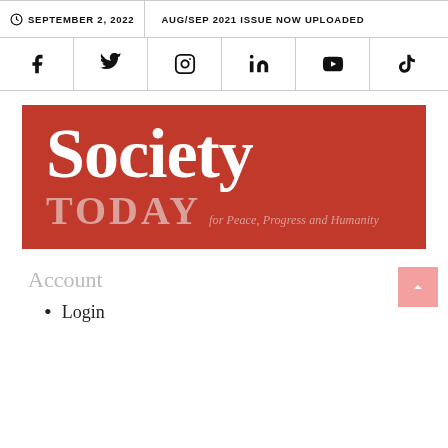SEPTEMBER 2, 2022   AUG/SEP 2021 ISSUE NOW UPLOADED
[Figure (other): Social media icons bar: Facebook, Twitter, Instagram, LinkedIn, YouTube, TikTok]
[Figure (logo): Society Today magazine logo on red background with tagline 'for Peace, Progress and Humanity']
Account
Login